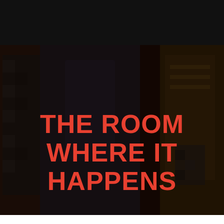[Figure (logo): Performance Santa Fe logo — stylized 'PSF' letters with red curved swoosh element in white on black background, with text 'PERFORMANCE SANTA FE' below]
[Figure (photo): Dark-overlaid photo of performers dancing, showing colorful costumes including black-and-white houndstooth and yellow/gold fabric]
THE ROOM WHERE IT HAPPENS